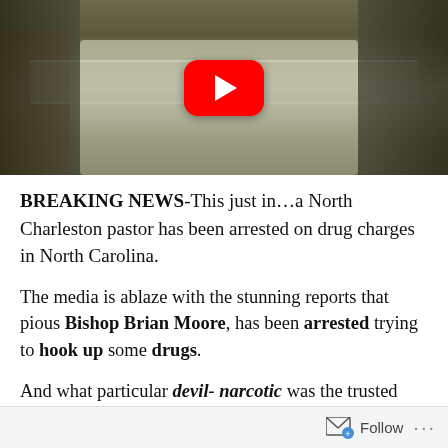[Figure (screenshot): YouTube video thumbnail showing people at a podium/lectern with a red YouTube play button overlay]
BREAKING NEWS-This just in…a North Charleston pastor has been arrested on drug charges in North Carolina.
The media is ablaze with the stunning reports that pious Bishop Brian Moore, has been arrested trying to hook up some drugs.
And what particular devil- narcotic was the trusted Bishop trying to score, you ask…well, the heinous narcotic
Follow ...